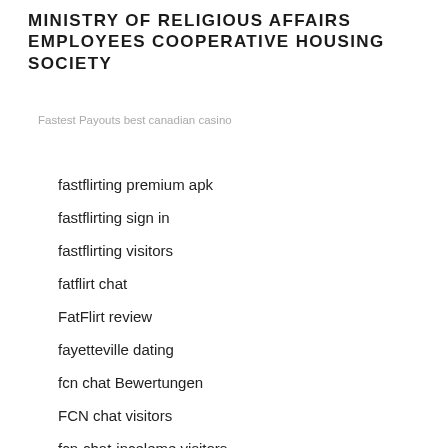MINISTRY OF RELIGIOUS AFFAIRS EMPLOYEES COOPERATIVE HOUSING SOCIETY
Fastest Payouts best canadian casino
fastflirting premium apk
fastflirting sign in
fastflirting visitors
fatflirt chat
FatFlirt review
fayetteville dating
fcn chat Bewertungen
FCN chat visitors
fcn-chat-inceleme visitors
fcnchat review